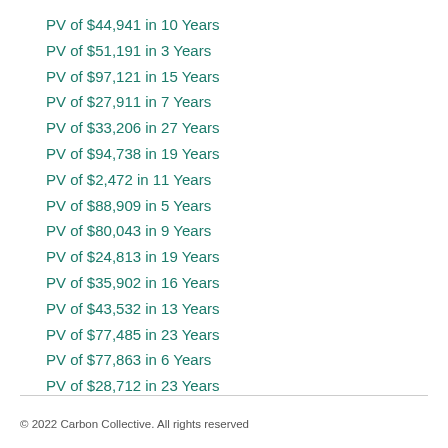PV of $44,941 in 10 Years
PV of $51,191 in 3 Years
PV of $97,121 in 15 Years
PV of $27,911 in 7 Years
PV of $33,206 in 27 Years
PV of $94,738 in 19 Years
PV of $2,472 in 11 Years
PV of $88,909 in 5 Years
PV of $80,043 in 9 Years
PV of $24,813 in 19 Years
PV of $35,902 in 16 Years
PV of $43,532 in 13 Years
PV of $77,485 in 23 Years
PV of $77,863 in 6 Years
PV of $28,712 in 23 Years
© 2022 Carbon Collective. All rights reserved